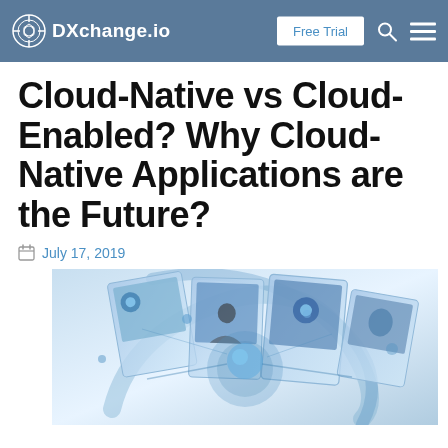DXchange.io — Free Trial
Cloud-Native vs Cloud-Enabled? Why Cloud-Native Applications are the Future?
July 17, 2019
[Figure (photo): Abstract collage of cloud computing and digital technology imagery with blue tones, showing interconnected screens and a person viewing digital panels]